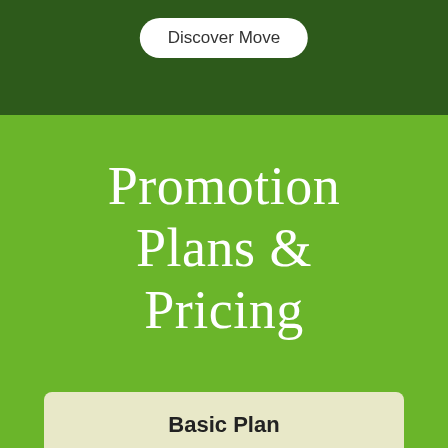Discover Move
Promotion Plans & Pricing
Basic Plan